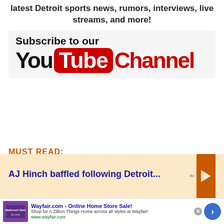latest Detroit sports news, rumors, interviews, live streams, and more!
[Figure (logo): YouTube channel subscription banner with 'Subscribe to our YouTube Channel' text and YouTube logo]
MUST READ:
AJ Hinch baffled following Detroit...
[Figure (other): Wayfair.com advertisement banner - Online Home Store Sale]
Wayfair.com - Online Home Store Sale! Shop for A Zillion Things Home across all styles at Wayfair! www.wayfair.com